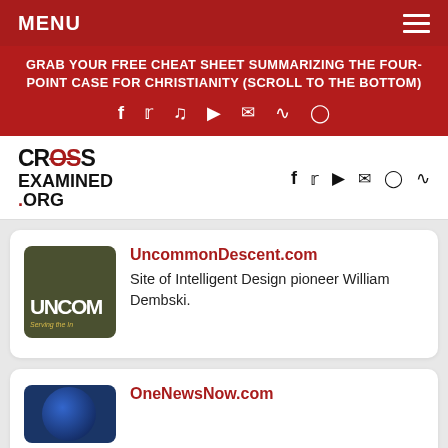MENU
GRAB YOUR FREE CHEAT SHEET SUMMARIZING THE FOUR-POINT CASE FOR CHRISTIANITY (SCROLL TO THE BOTTOM)
[Figure (screenshot): Cross Examined .org logo]
UncommonDescent.com
Site of Intelligent Design pioneer William Dembski.
OneNewsNow.com